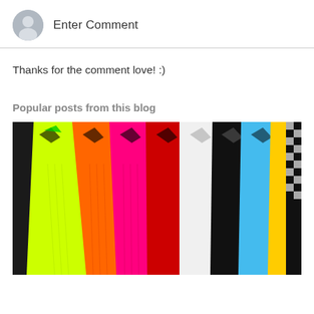Enter Comment
Thanks for the comment love! :)
Popular posts from this blog
[Figure (photo): A fan of colorful athletic socks spread out showing multiple colors: yellow-green, orange, pink/magenta, red, white, black, light blue, yellow, and a black checkered pattern. Each sock has a logo mark near the top.]